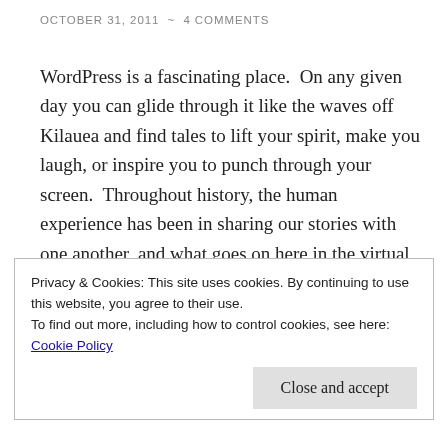OCTOBER 31, 2011  ~  4 COMMENTS
WordPress is a fascinating place.  On any given day you can glide through it like the waves off Kilauea and find tales to lift your spirit, make you laugh, or inspire you to punch through your screen.  Throughout history, the human experience has been in sharing our stories with one another, and what goes on here in the virtual world is a natural progression from and extension of those drawings on cave walls and epics of heroes told around a dying fire.  Cruising
Privacy & Cookies: This site uses cookies. By continuing to use this website, you agree to their use.
To find out more, including how to control cookies, see here: Cookie Policy
Close and accept